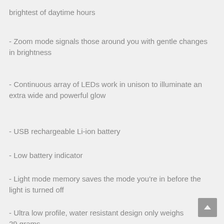brightest of daytime hours
- Zoom mode signals those around you with gentle changes in brightness
- Continuous array of LEDs work in unison to illuminate an extra wide and powerful glow
- USB rechargeable Li-ion battery
- Low battery indicator
- Light mode memory saves the mode you're in before the light is turned off
- Ultra low profile, water resistant design only weighs 29 grams